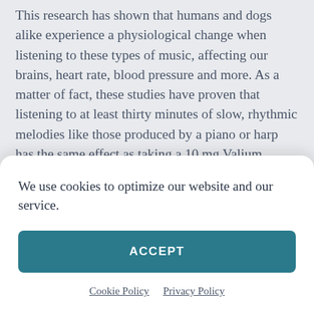This research has shown that humans and dogs alike experience a physiological change when listening to these types of music, affecting our brains, heart rate, blood pressure and more. As a matter of fact, these studies have proven that listening to at least thirty minutes of slow, rhythmic melodies like those produced by a piano or harp has the same effect as taking a 10 mg Valium.
What's even better is that you can produce the same
We use cookies to optimize our website and our service.
ACCEPT
Cookie Policy   Privacy Policy